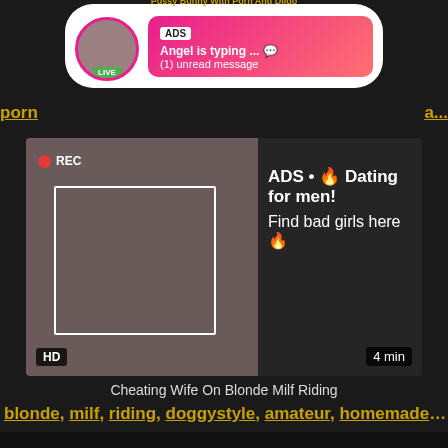[Figure (screenshot): Ad banner at top showing avatar with LIVE badge, ADS tag, 'Angel is typing ... 💬' and '(1) unread message' on pink-red gradient bubble. Title text 'Pussy Bunny With Porn And Dildo' above.]
porn
a...
[Figure (screenshot): Video player ad. Left side shows woman taking mirror selfie with REC indicator and focus box overlay; HD badge bottom left, '4 min' bottom right. Right side shows text: ADS • 🔥 Dating for men! Find bad girls here 🔥]
Cheating Wife On Blonde Milf Riding
blonde, milf, riding, doggystyle, amateur, homemade, wif...